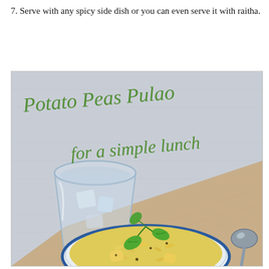7. Serve with any spicy side dish or you can even serve it with raitha.
[Figure (photo): Overhead food photo of Potato Peas Pulao served in a white bowl with blue rim, garnished with fresh green cilantro leaves, placed on a brown paper napkin beside a glass of water with ice and a spoon. Text overlay in green cursive reads 'Potato Peas Pulao for a simple lunch'.]